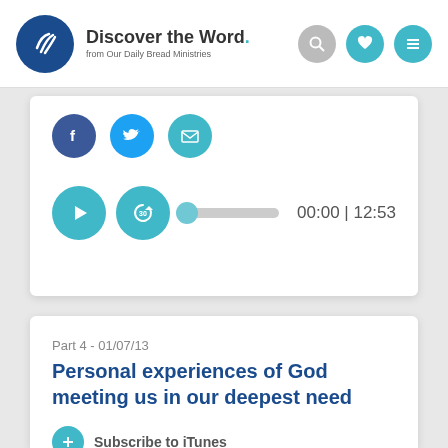Discover the Word. from Our Daily Bread Ministries
[Figure (screenshot): Social sharing icons: Facebook, Twitter, Email]
[Figure (screenshot): Audio player with play button, 30-second replay button, progress bar, time display showing 00:00 | 12:53]
Part 4 - 01/07/13
Personal experiences of God meeting us in our deepest need
Subscribe to iTunes